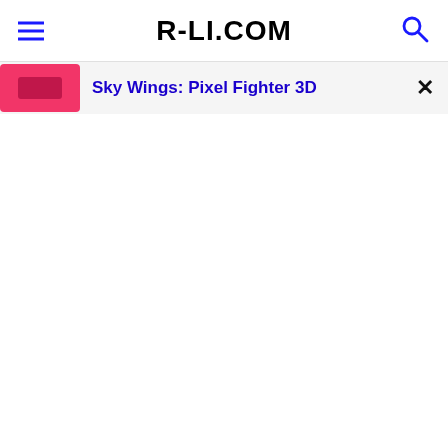R-LI.COM
Sky Wings: Pixel Fighter 3D